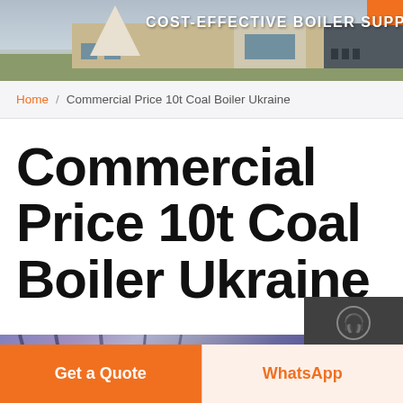[Figure (photo): Website header banner showing a building exterior with text COST-EFFECTIVE BOILER SUPPLIER]
Home / Commercial Price 10t Coal Boiler Ukraine
Commercial Price 10t Coal Boiler Ukraine
[Figure (photo): Interior of industrial boiler facility showing structural steel beams and piping]
Chat
Email
Contact
Get a Quote
WhatsApp